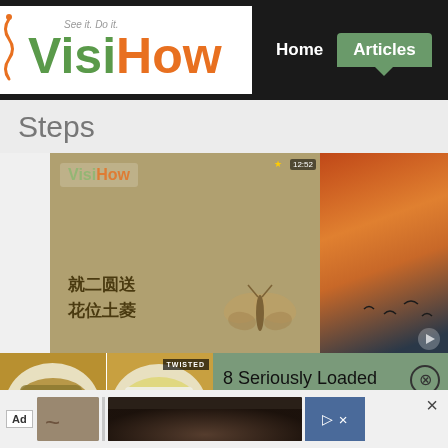[Figure (logo): VisiHow logo with tagline 'See it. Do it.' — 'Visi' in green, 'How' in orange, with decorative squiggle]
Home
Articles
Steps
[Figure (screenshot): Video player showing VisiHow watermark over a scene with Chinese text '就二圆送 花位土菱' and a butterfly illustration overlay; right panel shows orange sunset sky with birds]
[Figure (photo): Ad overlay showing two plates of loaded fries side by side with TWISTED badge, next to a green panel reading '8 Seriously Loaded Fries' with an X close button]
8 Seriously Loaded Fries
[Figure (screenshot): Bottom advertisement bar with 'Ad' label, stomach image placeholder, dark photo of hair, and blue strip with X and arrow icons]